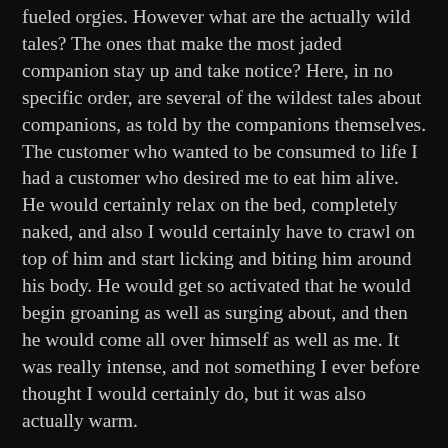fueled orgies. However what are the actually wild tales? The ones that make the most jaded companion stay up and take notice? Here, in no specific order, are several of the wildest tales about companions, as told by the companions themselves. The customer who wanted to be consumed to life I had a customer who desired me to eat him alive. He would certainly relax on the bed, completely naked, and also I would certainly have to crawl on top of him and start licking and biting him around his body. He would get so activated that he would begin groaning as well as surging about, and then he would come all over himself as well as me. It was really intense, and not something I ever before thought I would certainly do, but it was also actually warm.
The customer who wanted to be peed on I had a customer that desired me to pee on him. He would certainly get totally nude and also lie down on the flooring, as well as I would certainly have to squat over...